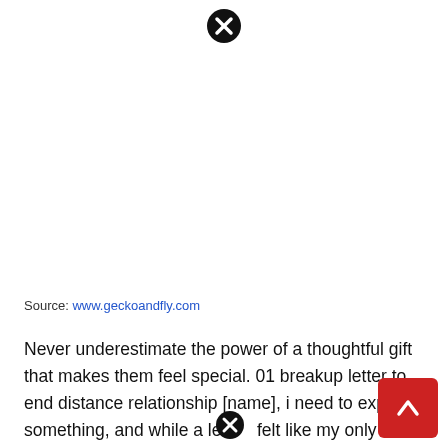[Figure (other): Close/dismiss icon (circle with X) at top center of page]
Source: www.geckoandfly.com
Never underestimate the power of a thoughtful gift that makes them feel special. 01 breakup letter to end distance relationship [name], i need to express something, and while a letter felt like my only option due
[Figure (other): Red scroll-to-top button with upward arrow in bottom right corner]
[Figure (other): Close/dismiss icon (circle with X) overlaid near bottom center of text]